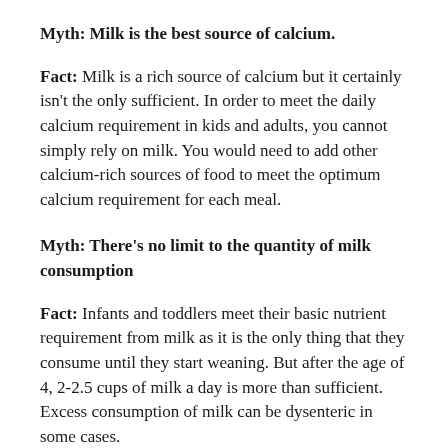Myth: Milk is the best source of calcium.
Fact: Milk is a rich source of calcium but it certainly isn't the only sufficient. In order to meet the daily calcium requirement in kids and adults, you cannot simply rely on milk. You would need to add other calcium-rich sources of food to meet the optimum calcium requirement for each meal.
Myth: There's no limit to the quantity of milk consumption
Fact: Infants and toddlers meet their basic nutrient requirement from milk as it is the only thing that they consume until they start weaning. But after the age of 4, 2-2.5 cups of milk a day is more than sufficient. Excess consumption of milk can be dysenteric in some cases.